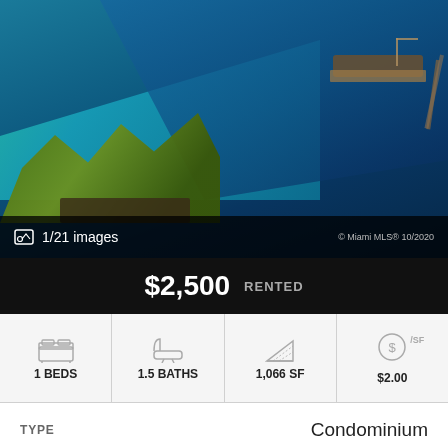[Figure (photo): Aerial view of tropical waterfront with teal and deep blue ocean water, palm trees and vegetation in lower left, and a barge/boat structure visible in upper right with a pier extending into the water.]
1/21 images
© Miami MLS® 10/2020
$2,500 RENTED
| BEDS | BATHS | SF | /SF |
| --- | --- | --- | --- |
| 1 BEDS | 1.5 BATHS | 1,066 SF | $2.00 |
TYPE    Condominium
PARKING    Valet